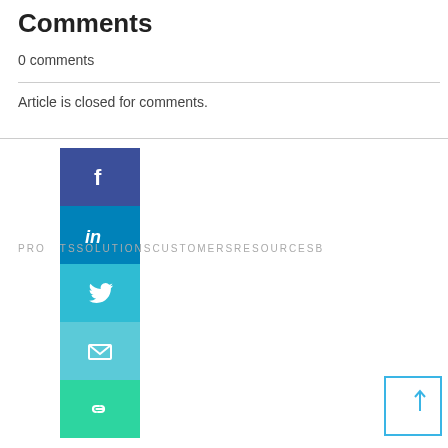Comments
0 comments
Article is closed for comments.
[Figure (infographic): Social sharing icons bar: Facebook (dark blue), LinkedIn (medium blue), Twitter (teal), Email (light teal), Link/copy (green)]
PRODUCTS SOLUTIONS CUSTOMERS RESOURCES B...
Remote Hiring
Remote Hiring Platform
Remote First Sourcing
Remote First Screening
Remote Hiring
University Recruiting
Diversity & Inclusion
Virtual Career Fair
Professional
All Industries
Financial Services
Technology
More
Events
Datasheets
Guides
Webinars
Research
Security
Trust